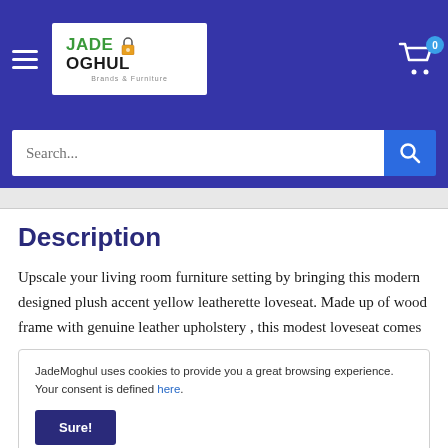[Figure (logo): JadeMoghul logo with green and dark text on white background, inside blue header bar]
Search...
Description
Upscale your living room furniture setting by bringing this modern designed plush accent yellow leatherette loveseat. Made up of wood frame with genuine leather upholstery , this modest loveseat comes
JadeMoghul uses cookies to provide you a great browsing experience. Your consent is defined here.
slightly vary due to different lighting sources.